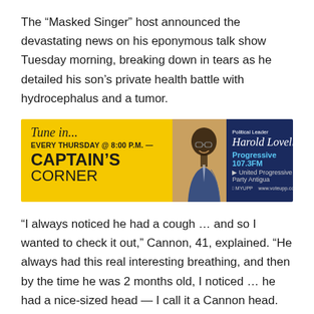The “Masked Singer” host announced the devastating news on his eponymous talk show Tuesday morning, breaking down in tears as he detailed his son’s private health battle with hydrocephalus and a tumor.
[Figure (infographic): Advertisement banner for Captain’s Corner radio show featuring Harold Lovell on Progressive 107.3FM. Yellow background on left with 'Tune in... EVERY THURSDAY @ 8:00 P.M. CAPTAIN’S CORNER' text, center shows a photo of a man, right navy blue section features 'Political Leader Harold Lovell Progressive 107.3FM' with social media handles and www.voteupp.com]
“I always noticed he had a cough … and so I wanted to check it out,” Cannon, 41, explained. “He always had this real interesting breathing, and then by the time he was 2 months old, I noticed … he had a nice-sized head — I call it a Cannon head.
[Figure (infographic): Advertisement banner for Caribé with gold/brown background on left showing 'CELEBRATE WITH CARIBÉ' text, and a teal/green section on right showing bottles.]